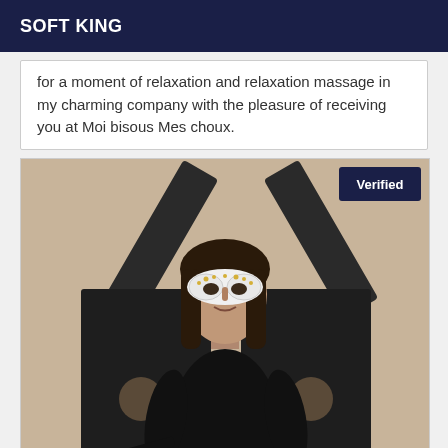SOFT KING
for a moment of relaxation and relaxation massage in my charming company with the pleasure of receiving you at Moi bisous Mes choux.
[Figure (photo): A woman wearing a white masquerade mask and black latex outfit, seated in front of a large black wooden X-frame/cross structure. A dark navy 'Verified' badge appears in the top-right corner of the photo.]